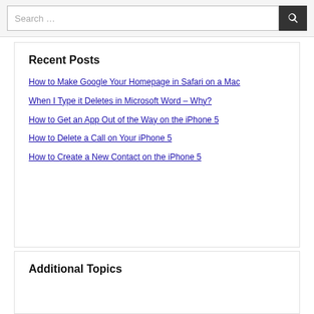Recent Posts
How to Make Google Your Homepage in Safari on a Mac
When I Type it Deletes in Microsoft Word – Why?
How to Get an App Out of the Way on the iPhone 5
How to Delete a Call on Your iPhone 5
How to Create a New Contact on the iPhone 5
Additional Topics